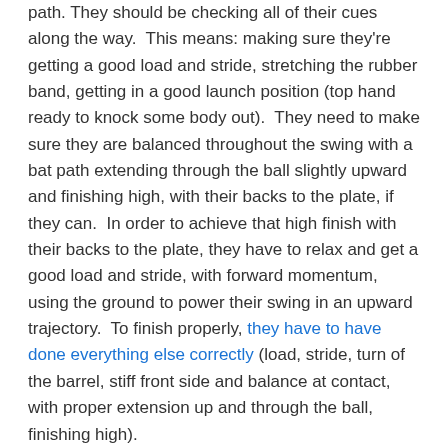path.  They should be checking all of their cues along the way.  This means: making sure they're getting a good load and stride, stretching the rubber band, getting in a good launch position (top hand ready to knock some body out).  They need to make sure they are balanced throughout the swing with a bat path extending through the ball slightly upward and finishing high, with their backs to the plate, if they can.  In order to achieve that high finish with their backs to the plate, they have to relax and get a good load and stride, with forward momentum, using the ground to power their swing in an upward trajectory.  To finish properly, they have to have done everything else correctly (load, stride, turn of the barrel, stiff front side and balance at contact, with proper extension up and through the ball, finishing high).
Check out my favorite college player's swing, which is a great example of what I think Jamar is trying to teach with the reverse net drill.  Check out Nick Madrigal (OSU second baseman) and preseason All American.